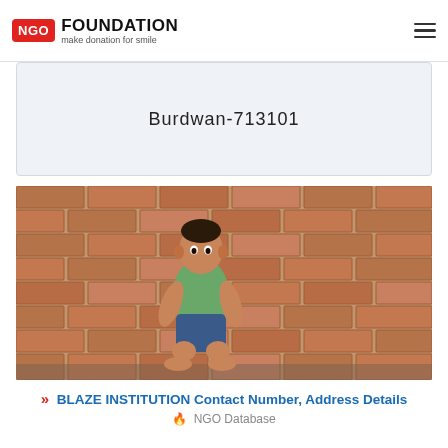NGO FOUNDATION — make donation for smile
Burdwan-713101
[Figure (photo): A young boy sitting on the ground against a brick wall, wearing a green shirt and shorts, barefoot, looking at the camera.]
BLAZE INSTITUTION Contact Number, Address Details
NGO Database